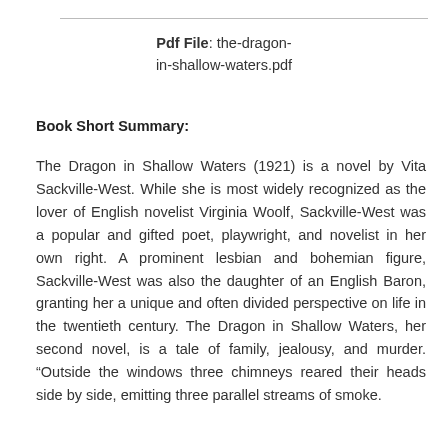Pdf File: the-dragon-in-shallow-waters.pdf
Book Short Summary:
The Dragon in Shallow Waters (1921) is a novel by Vita Sackville-West. While she is most widely recognized as the lover of English novelist Virginia Woolf, Sackville-West was a popular and gifted poet, playwright, and novelist in her own right. A prominent lesbian and bohemian figure, Sackville-West was also the daughter of an English Baron, granting her a unique and often divided perspective on life in the twentieth century. The Dragon in Shallow Waters, her second novel, is a tale of family, jealousy, and murder. “Outside the windows three chimneys reared their heads side by side, emitting three parallel streams of smoke.